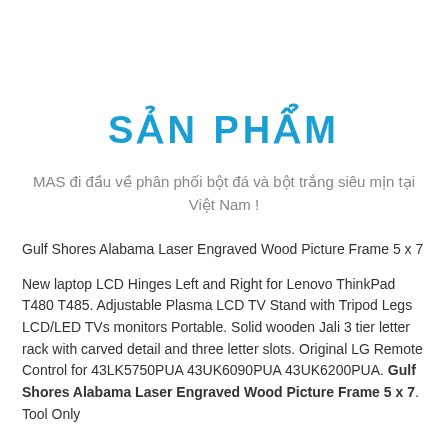SẢN PHẨM
MAS đi đầu về phân phối bột đá và bột trắng siêu mịn tại Việt Nam !
Gulf Shores Alabama Laser Engraved Wood Picture Frame 5 x 7
New laptop LCD Hinges Left and Right for Lenovo ThinkPad T480 T485. Adjustable Plasma LCD TV Stand with Tripod Legs LCD/LED TVs monitors Portable. Solid wooden Jali 3 tier letter rack with carved detail and three letter slots. Original LG Remote Control for 43LK5750PUA 43UK6090PUA 43UK6200PUA. Gulf Shores Alabama Laser Engraved Wood Picture Frame 5 x 7. Tool Only